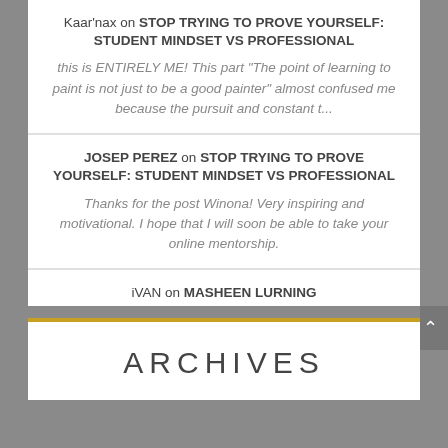Kaar'nax on STOP TRYING TO PROVE YOURSELF: STUDENT MINDSET VS PROFESSIONAL
this is ENTIRELY ME! This part "The point of learning to paint is not just to be a good painter" almost confused me because the pursuit and constant t...
JOSEP PEREZ on STOP TRYING TO PROVE YOURSELF: STUDENT MINDSET VS PROFESSIONAL
Thanks for the post Winona! Very inspiring and motivational. I hope that I will soon be able to take your online mentorship.
iVAN on MASHEEN LURNING
You guys in muddy colors are shielded because you're exceptional but the rest of us, the mediocre third tier artists, we're done.
ARCHIVES